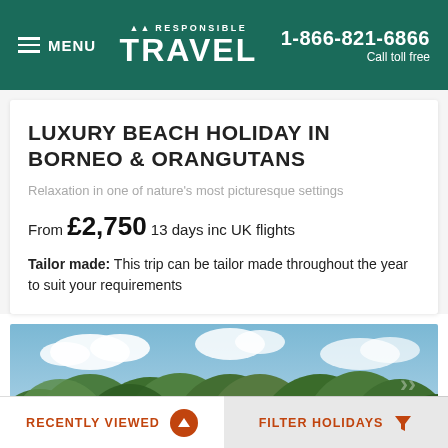MENU | RESPONSIBLE TRAVEL | 1-866-821-6866 Call toll free
LUXURY BEACH HOLIDAY IN BORNEO & ORANGUTANS
Relaxation in one of nature's most picturesque settings
From £2,750 13 days inc UK flights
Tailor made: This trip can be tailor made throughout the year to suit your requirements
[Figure (photo): Tropical rainforest canopy with lush green trees under a partly cloudy blue sky]
RECENTLY VIEWED | FILTER HOLIDAYS